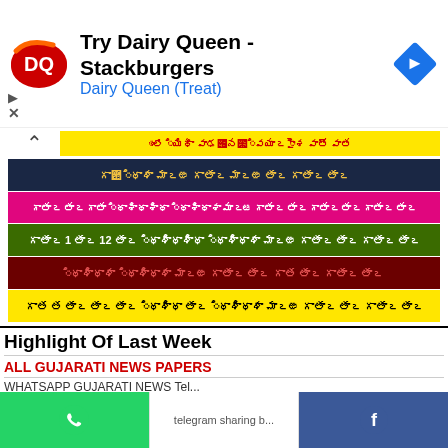[Figure (screenshot): Dairy Queen advertisement banner with DQ logo, text 'Try Dairy Queen - Stackburgers' and 'Dairy Queen (Treat)', and a navigation/map icon on the right]
[Gujarati text - yellow bar news headline]
[Gujarati text - dark navy bar news headline]
[Gujarati text - pink bar news headline]
[Gujarati text - green bar news headline with 1 to 12]
[Gujarati text - dark red bar news headline]
[Gujarati text - yellow bar news headline]
Highlight Of Last Week
ALL GUJARATI NEWS PAPERS
[Figure (screenshot): Bottom sharing bar with WhatsApp, Telegram, and Facebook sharing buttons]